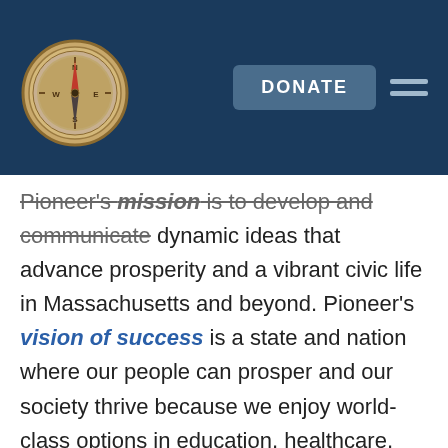[Figure (logo): Compass logo (golden/brass compass on dark navy header background)]
Pioneer's mission is to develop and communicate dynamic ideas that advance prosperity and a vibrant civic life in Massachusetts and beyond. Pioneer's vision of success is a state and nation where our people can prosper and our society thrive because we enjoy world-class options in education, healthcare, transportation and economic opportunity, and where our government is limited, accountable and transparent. Pioneer values an America where our citizenry is well-educated and willing to test our beliefs based on facts and the free exchange of ideas, and